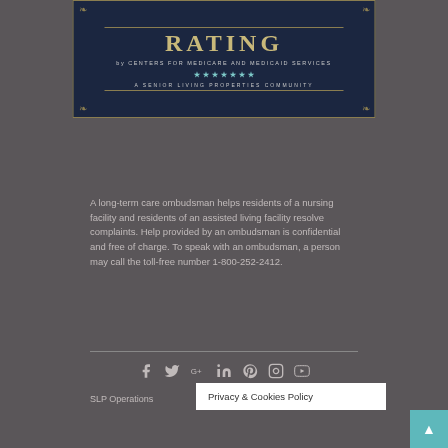[Figure (infographic): Dark navy banner with gold border showing '5-STAR RATING by CENTERS FOR MEDICARE AND MEDICAID SERVICES' with teal star icons and 'A SENIOR LIVING PROPERTIES COMMUNITY' text, decorative corner ornaments]
A long-term care ombudsman helps residents of a nursing facility and residents of an assisted living facility resolve complaints. Help provided by an ombudsman is confidential and free of charge. To speak with an ombudsman, a person may call the toll-free number 1-800-252-2412.
[Figure (infographic): Row of social media icons: Facebook, Twitter, Google+, LinkedIn, Pinterest, Instagram, YouTube]
SLP Operations
Privacy & Cookies Policy